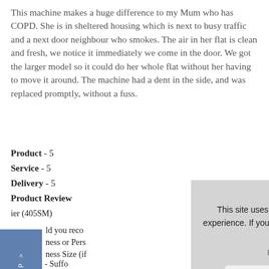This machine makes a huge difference to my Mum who has COPD. She is in sheltered housing which is next to busy traffic and a next door neighbour who smokes. The air in her flat is clean and fresh, we notice it immediately we come in the door. We got the larger model so it could do her whole flat without her having to move it around. The machine had a dent in the side, and was replaced promptly, without a fuss.
Product - 5
Service - 5
Delivery - 5
Product Review
ier (405SM)
ld you reco
ness or Pers
ness Size (if
Location - Suffo
April 9, 2019
Jennifer Sendall
This site uses cookies to provide and improve your shopping experience. If you want to benefit from this improved service, please opt-in. Cookies Page.
I opt-in to a better browsing experience
Accept Cookies